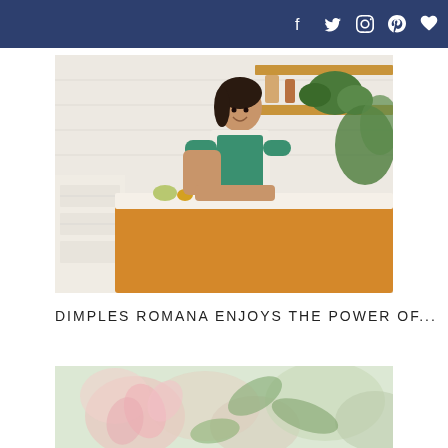Social icons: Facebook, Twitter, Instagram, Pinterest, Favorite
[Figure (photo): Woman in green apron leaning on a yellow kitchen island counter, with white tile backsplash, wooden shelves with plants and decorative items in the background.]
DIMPLES ROMANA ENJOYS THE POWER OF...
[Figure (photo): Partial view of flowers or botanical subject with soft pink and green tones, partially cropped at bottom of page.]